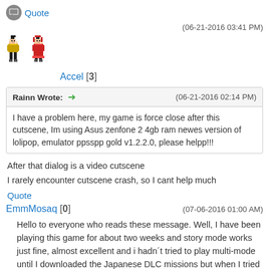Quote (button)
(06-21-2016 03:41 PM)
[Figure (illustration): Pixel art avatar showing two game characters side by side]
Accel [3]
| Rainn Wrote: → (06-21-2016 02:14 PM) |
| --- |
| I have a problem here, my game is force close after this cutscene, Im using Asus zenfone 2 4gb ram newes version of lolipop, emulator ppsspp gold v1.2.2.0, please helpp!!! |
After that dialog is a video cutscene
I rarely encounter cutscene crash, so I cant help much
Quote
EmmMosaq [0]   (07-06-2016 01:00 AM)
Hello to everyone who reads these message. Well, I have been playing this game for about two weeks and story mode works just fine, almost excellent and i hadn´t tried to play multi-mode until I downloaded the Japanese DLC missions but when I tried to enter multi-mode SOLO it wont let me in, a message saying "a network error has occurred" pops. I have tried a LOT of things and it still won´t work so if anyone who had this problem and was able to fix it and has a solution or any help or advide would be greatly